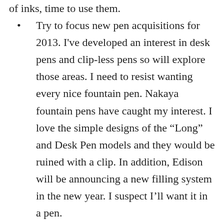of inks, time to use them.
Try to focus new pen acquisitions for 2013. I've developed an interest in desk pens and clip-less pens so will explore those areas. I need to resist wanting every nice fountain pen. Nakaya fountain pens have caught my interest. I love the simple designs of the “Long” and Desk Pen models and they would be ruined with a clip. In addition, Edison will be announcing a new filling system in the new year. I suspect I’ll want it in a pen.
Attend a pen show. It will probably be the Washington D.C. show but I may try to get to one of the earlier east coast shows if the weather cooperates enough for driving.